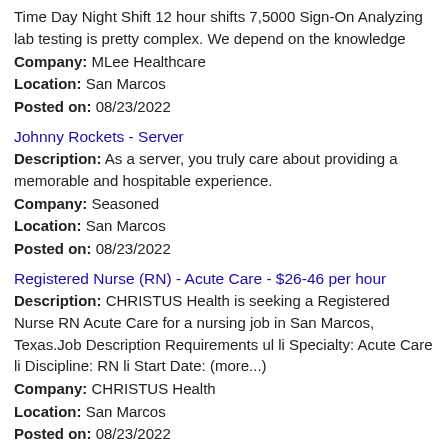Time Day Night Shift 12 hour shifts 7,5000 Sign-On Analyzing lab testing is pretty complex. We depend on the knowledge
Company: MLee Healthcare
Location: San Marcos
Posted on: 08/23/2022
Johnny Rockets - Server
Description: As a server, you truly care about providing a memorable and hospitable experience.
Company: Seasoned
Location: San Marcos
Posted on: 08/23/2022
Registered Nurse (RN) - Acute Care - $26-46 per hour
Description: CHRISTUS Health is seeking a Registered Nurse RN Acute Care for a nursing job in San Marcos, Texas.Job Description Requirements ul li Specialty: Acute Care li Discipline: RN li Start Date: (more...)
Company: CHRISTUS Health
Location: San Marcos
Posted on: 08/23/2022
Salary in Round Rock, Texas Area | More details for Round Rock, Texas Jobs |Salary